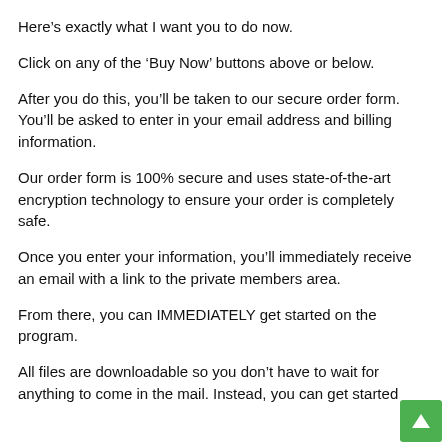Here’s exactly what I want you to do now.
Click on any of the ‘Buy Now’ buttons above or below.
After you do this, you’ll be taken to our secure order form. You’ll be asked to enter in your email address and billing information.
Our order form is 100% secure and uses state-of-the-art encryption technology to ensure your order is completely safe.
Once you enter your information, you’ll immediately receive an email with a link to the private members area.
From there, you can IMMEDIATELY get started on the program.
All files are downloadable so you don’t have to wait for anything to come in the mail. Instead, you can get started